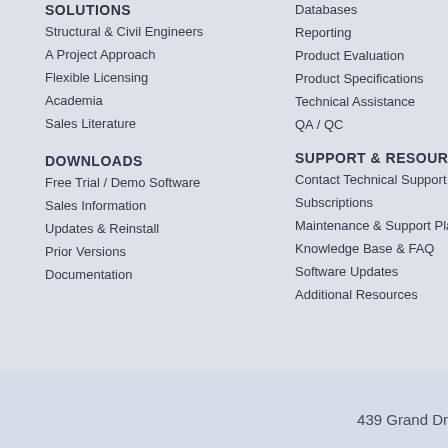SOLUTIONS
Structural & Civil Engineers
A Project Approach
Flexible Licensing
Academia
Sales Literature
DOWNLOADS
Free Trial / Demo Software
Sales Information
Updates & Reinstall
Prior Versions
Documentation
Databases
Reporting
Product Evaluation
Product Specifications
Technical Assistance
QA / QC
SUPPORT & RESOURCES
Contact Technical Support
Subscriptions
Maintenance & Support Pla...
Knowledge Base & FAQ
Software Updates
Additional Resources
439 Grand Dr...